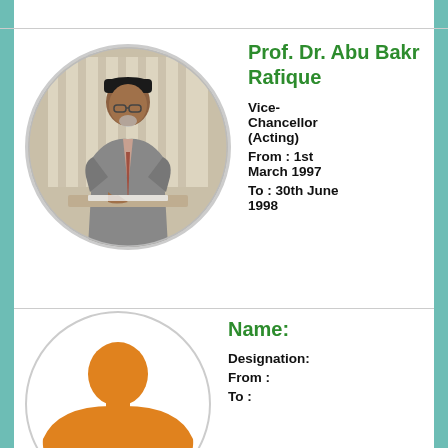[Figure (photo): Circular photo of Prof. Dr. Abu Bakr Rafique, an elderly man wearing a black cap and grey suit, sitting at a desk signing a document]
Prof. Dr. Abu Bakr Rafique
Vice-Chancellor (Acting)
From : 1st March 1997
To : 30th June 1998
[Figure (illustration): Circular placeholder silhouette of a person in orange color]
Name:
Designation:
From :
To :